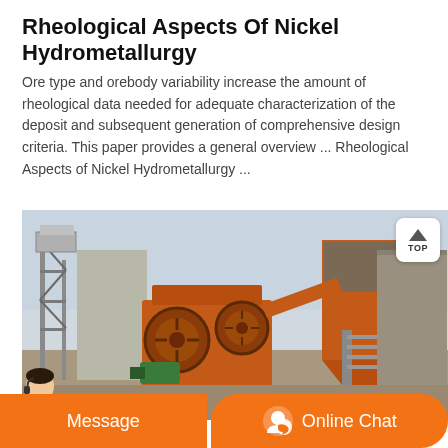Rheological Aspects Of Nickel Hydrometallurgy
Ore type and orebody variability increase the amount of rheological data needed for adequate characterization of the deposit and subsequent generation of comprehensive design criteria. This paper provides a general overview ... Rheological Aspects of Nickel Hydrometallurgy ...
[Figure (photo): Industrial mining/hydrometallurgy facility showing large orange jaw crusher machinery, conveyor belts, steel scaffolding, and concrete structures outdoors.]
[Figure (other): Website UI overlay with a person (customer service representative), an orange Message button, and an orange Online Chat button with chat icon.]